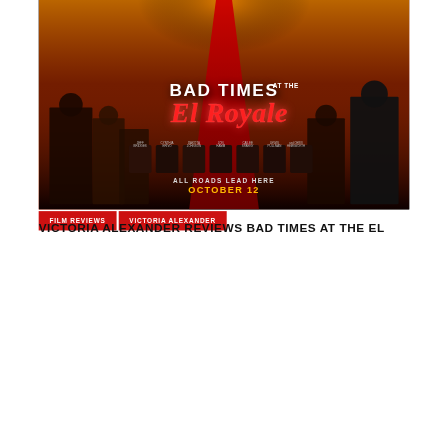[Figure (photo): Movie poster for 'Bad Times at the El Royale' showing people walking on a red carpet toward a glowing sunset, with the film title in neon-style lettering, cast photos (Jeff Bridges, Cynthia Erivo, Dakota Johnson, Jon Hamm, Cailee Spaeny, Lewis Pullman, and Chris Hemsworth), tagline 'ALL ROADS LEAD HERE' and release date 'OCTOBER 12'. Red label tags below read 'FILM REVIEWS' and 'VICTORIA ALEXANDER'.]
VICTORIA ALEXANDER REVIEWS BAD TIMES AT THE EL